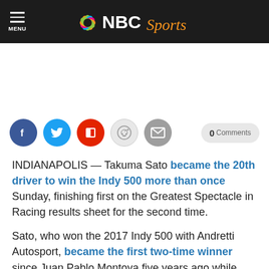NBC Sports
[Figure (screenshot): Social sharing buttons: Facebook, Twitter, Flipboard, Reddit, Email, and a '0 Comments' button]
INDIANAPOLIS — Takuma Sato became the 20th driver to win the Indy 500 more than once Sunday, finishing first on the Greatest Spectacle in Racing results sheet for the second time.
Sato, who won the 2017 Indy 500 with Andretti Autosport, became the first two-time winner since Juan Pablo Montoya five years ago while delivering the second